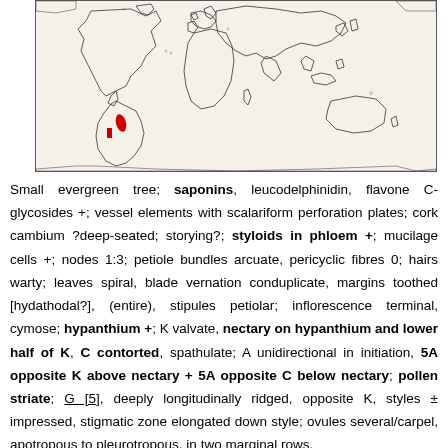[Figure (map): World map outline showing distribution range marked with red spots in South America (western coast/Andes region), indicating two red marked areas — one small rectangle and one oval leaf shape — in the vicinity of Chile/Argentina/Brazil.]
Small evergreen tree; saponins, leucodelphinidin, flavone C-glycosides +; vessel elements with scalariform perforation plates; cork cambium ?deep-seated; storying?; styloids in phloem +; mucilage cells +; nodes 1:3; petiole bundles arcuate, pericyclic fibres 0; hairs warty; leaves spiral, blade vernation conduplicate, margins toothed [hydathodal?], (entire), stipules petiolar; inflorescence terminal, cymose; hypanthium +; K valvate, nectary on hypanthium and lower half of K, C contorted, spathulate; A unidirectional in initiation, 5A opposite K above nectary + 5A opposite C below nectary; pollen striate; G [5], deeply longitudinally ridged, opposite K, styles ± impressed, stigmatic zone elongated down style; ovules several/carpel, apotropous to pleurotropous, in two marginal rows,